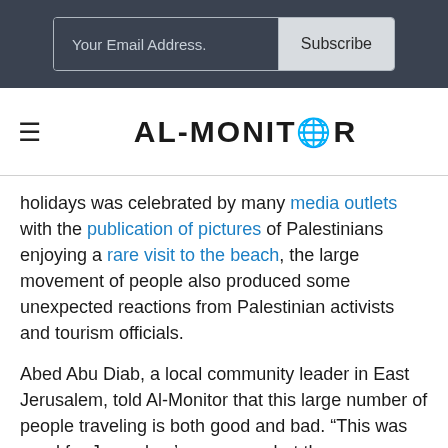[Figure (screenshot): Email subscription bar with 'Your Email Address.' input field and 'Subscribe' button on dark background]
AL-MONITOR (logo with globe icon)
holidays was celebrated by many media outlets with the publication of pictures of Palestinians enjoying a rare visit to the beach, the large movement of people also produced some unexpected reactions from Palestinian activists and tourism officials.
Abed Abu Diab, a local community leader in East Jerusalem, told Al-Monitor that this large number of people traveling is both good and bad. “This was good for Jerusalem’s economy, but there was no need for Palestinians to go